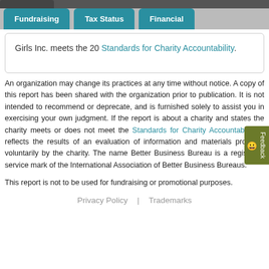Fundraising | Tax Status | Financial
Girls Inc. meets the 20 Standards for Charity Accountability.
An organization may change its practices at any time without notice. A copy of this report has been shared with the organization prior to publication. It is not intended to recommend or deprecate, and is furnished solely to assist you in exercising your own judgment. If the report is about a charity and states the charity meets or does not meet the Standards for Charity Accountability, it reflects the results of an evaluation of information and materials provided voluntarily by the charity. The name Better Business Bureau is a registered service mark of the International Association of Better Business Bureaus.
This report is not to be used for fundraising or promotional purposes.
Privacy Policy | Trademarks